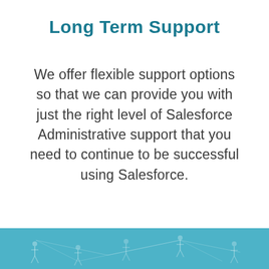Long Term Support
We offer flexible support options so that we can provide you with just the right level of Salesforce Administrative support that you need to continue to be successful using Salesforce.
[Figure (illustration): Teal/blue footer band with faint silhouettes of people connected by lines, suggesting a network or team graphic.]